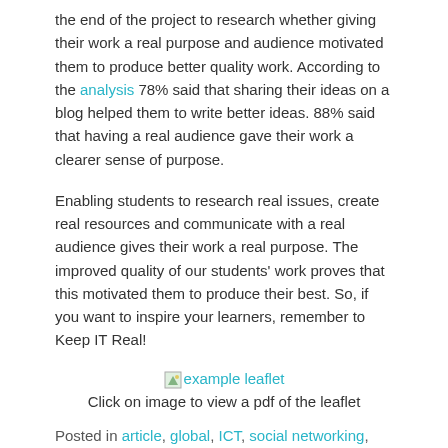the end of the project to research whether giving their work a real purpose and audience motivated them to produce better quality work. According to the analysis 78% said that sharing their ideas on a blog helped them to write better ideas. 88% said that having a real audience gave their work a clearer sense of purpose.
Enabling students to research real issues, create real resources and communicate with a real audience gives their work a real purpose. The improved quality of our students' work proves that this motivated them to produce their best. So, if you want to inspire your learners, remember to Keep IT Real!
[Figure (other): example leaflet image link]
Click on image to view a pdf of the leaflet
Posted in article, global, ICT, social networking, web2.0 | Leave a reply